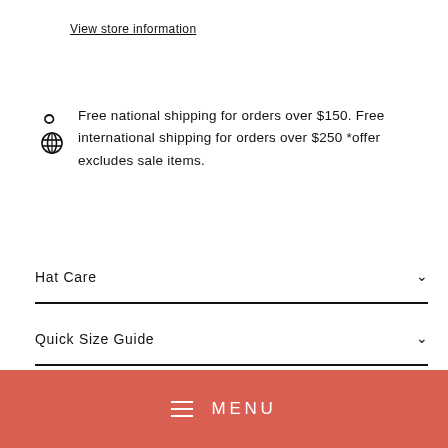View store information
Free national shipping for orders over $150. Free international shipping for orders over $250 *offer excludes sale items.
Hat Care
Quick Size Guide
Shipping information
MENU